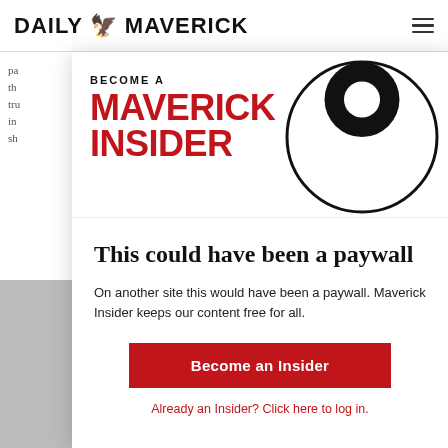DAILY MAVERICK
[Figure (logo): Daily Maverick Maverick Insider promotional banner with red bold text 'BECOME A MAVERICK INSIDER' and a black swirl graphic]
This could have been a paywall
On another site this would have been a paywall. Maverick Insider keeps our content free for all.
Become an Insider
Already an Insider? Click here to log in.